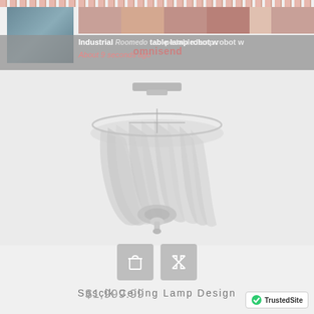[Figure (screenshot): Top notification bar showing an Omnisend powered product notification with text 'Industrial Roomedo table lamp robot w' and 'About 9 seconds ago', along with color swatches and a room image thumbnail]
[Figure (photo): Soscik Ceiling Lamp Design - a round flush-mount ceiling light with flowing fabric/wire strands forming a bowl shape in a silvery/translucent finish]
Soscik Ceiling Lamp Design
$1,999.99
[Figure (logo): TrustedSite certification badge with checkmark icon]